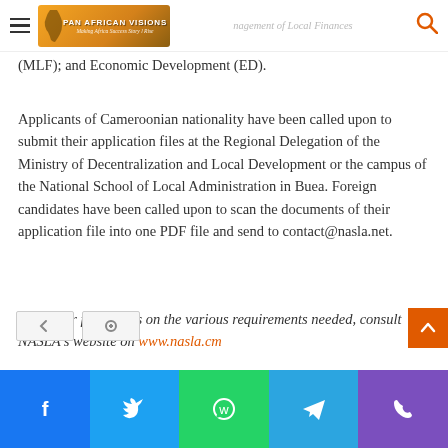Pan African Visions — Management of Local Finances
(MLF); and Economic Development (ED).
Applicants of Cameroonian nationality have been called upon to submit their application files at the Regional Delegation of the Ministry of Decentralization and Local Development or the campus of the National School of Local Administration in Buea. Foreign candidates have been called upon to scan the documents of their application file into one PDF file and send to contact@nasla.net.
*Note, for full details on the various requirements needed, consult NASLA's website on www.nasla.cm
Facebook | Twitter | WhatsApp | Telegram | Phone